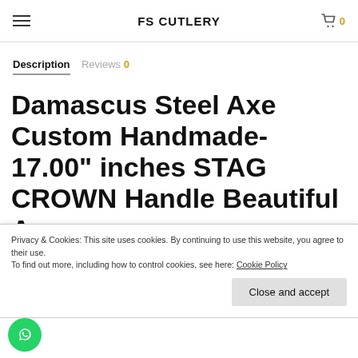FS CUTLERY
Description
Reviews 0
Damascus Steel Axe Custom Handmade-17.00" inches STAG CROWN Handle Beautiful Axe
Privacy & Cookies: This site uses cookies. By continuing to use this website, you agree to their use. To find out more, including how to control cookies, see here: Cookie Policy
Close and accept